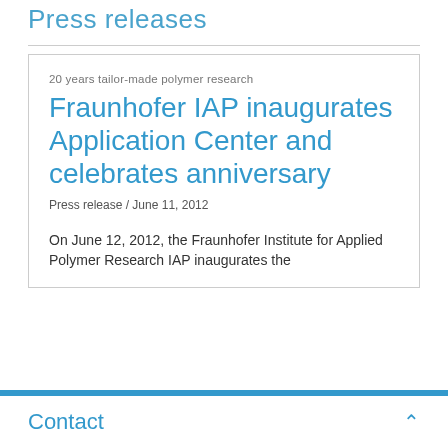Press releases
20 years tailor-made polymer research
Fraunhofer IAP inaugurates Application Center and celebrates anniversary
Press release / June 11, 2012
On June 12, 2012, the Fraunhofer Institute for Applied Polymer Research IAP inaugurates the
Contact